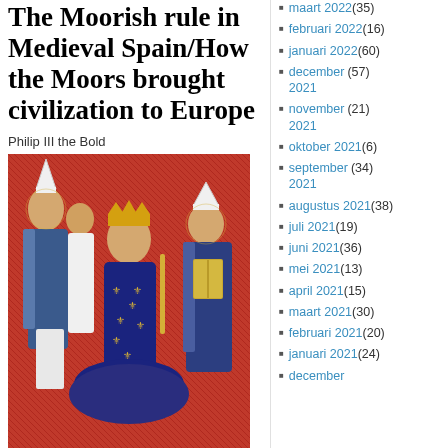The Moorish rule in Medieval Spain/How the Moors brought civilization to Europe
Philip III the Bold
[Figure (illustration): Medieval illuminated manuscript painting depicting the coronation of King Philip III, showing a king kneeling in blue robe with gold fleur-de-lis pattern, surrounded by bishops and clergy]
Coronation of King Philip III
PHILIP III, FATHER OF PHILIP IV OF
maart 2022 (35)
februari 2022 (16)
januari 2022 (60)
december 2021 (57)
november 2021 (21)
oktober 2021 (6)
september 2021 (34)
augustus 2021 (38)
juli 2021 (19)
juni 2021 (36)
mei 2021 (13)
april 2021 (15)
maart 2021 (30)
februari 2021 (20)
januari 2021 (24)
december